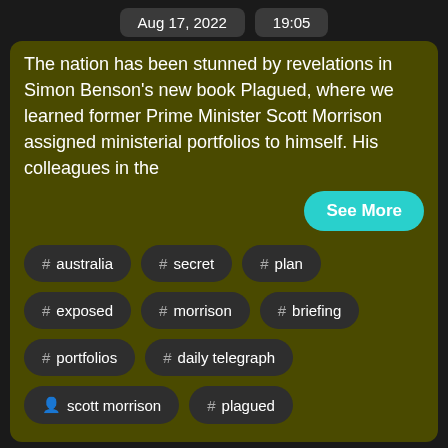Aug 17, 2022  19:05
The nation has been stunned by revelations in Simon Benson's new book Plagued, where we learned former Prime Minister Scott Morrison assigned ministerial portfolios to himself. His colleagues in the
See More
# australia
# secret
# plan
# exposed
# morrison
# briefing
# portfolios
# daily telegraph
person scott morrison
# plagued
August 17, 2022: Odinga Contest Kenya Election,